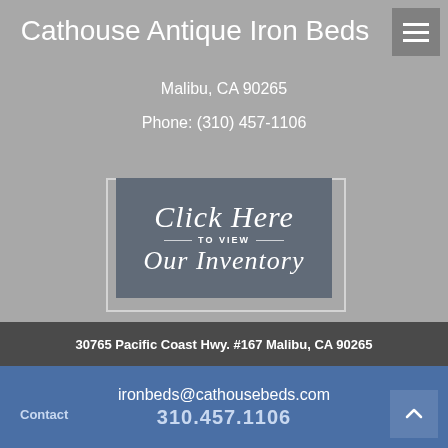Cathouse Antique Iron Beds
Malibu, CA 90265
Phone: (310) 457-1106
[Figure (illustration): A dark grey button with italic script text 'Click Here' at top, a divider line with 'TO VIEW' in small caps, and italic serif text 'Our Inventory' below]
30765 Pacific Coast Hwy. #167 Malibu, CA 90265
ironbeds@cathousebeds.com
310.457.1106
Contact